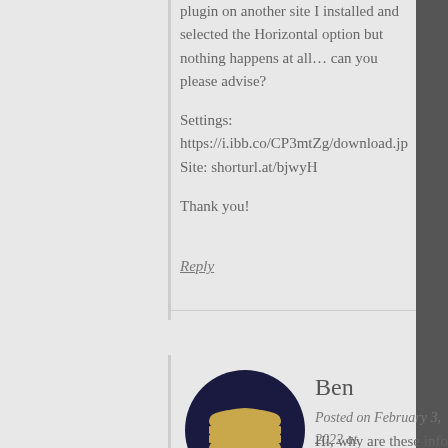plugin on another site I installed and selected the Horizontal option but nothing happens at all… can you please advise?
Settings:
https://i.ibb.co/CP3mtZg/download.jp
Site: shorturl.at/bjwyH
Thank you!
Reply
Ben
Posted on February 3, 2022 at 22:04   Permalink
Hi, why are these info boxes